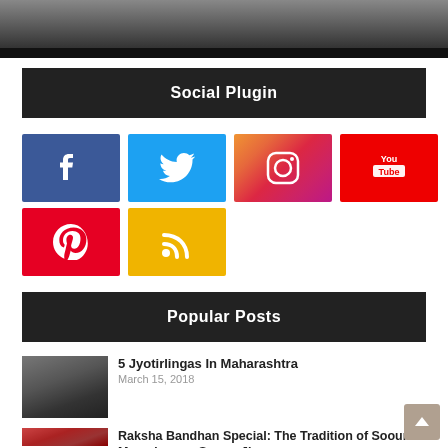[Figure (photo): Top cropped photo of a person, with a dark banner bar at the bottom]
Social Plugin
[Figure (infographic): Row of social media icon buttons: Facebook (blue), Twitter (light blue), Instagram (gradient), YouTube (red), Pinterest (red), RSS (yellow/orange)]
Popular Posts
[Figure (photo): Thumbnail of a temple (Jyotirlinga)]
5 Jyotirlingas In Maharashtra
March 15, 2018
[Figure (photo): Thumbnail of a rangoli/sooun design]
Raksha Bandhan Special: The Tradition of Sooun Maandana or Sooun Jimana
August 21, 2013